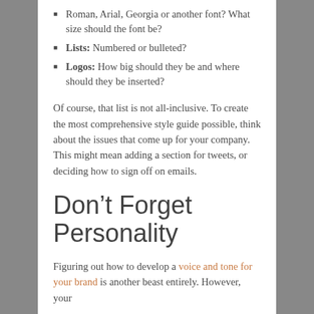Roman, Arial, Georgia or another font? What size should the font be?
Lists: Numbered or bulleted?
Logos: How big should they be and where should they be inserted?
Of course, that list is not all-inclusive. To create the most comprehensive style guide possible, think about the issues that come up for your company. This might mean adding a section for tweets, or deciding how to sign off on emails.
Don’t Forget Personality
Figuring out how to develop a voice and tone for your brand is another beast entirely. However, your